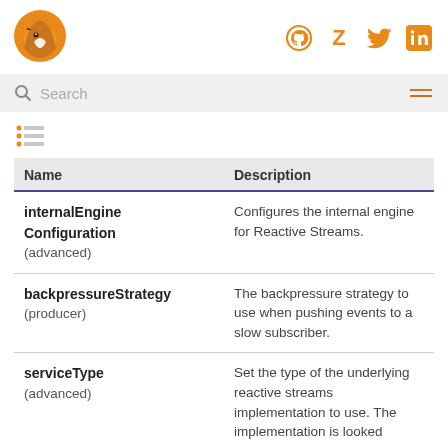[Figure (logo): Orange fox/bird logo]
[Figure (infographic): Social icons: GitHub, Z, Twitter, LinkedIn in orange]
Search
[Figure (infographic): List/menu icon (three horizontal lines with dots)]
| Name | Description |
| --- | --- |
| internalEngineConfiguration (advanced) | Configures the internal engine for Reactive Streams. |
| backpressureStrategy (producer) | The backpressure strategy to use when pushing events to a slow subscriber. |
| serviceType (advanced) | Set the type of the underlying reactive streams implementation to use. The implementation is looked |